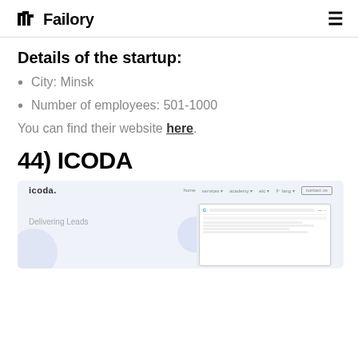Failory
Details of the startup:
City: Minsk
Number of employees: 501-1000
You can find their website here.
44) ICODA
[Figure (screenshot): ICODA website screenshot showing logo, nav bar with contact us button, and 'Delivering Leads' tagline with a Google search mockup on the right side against a light blue/purple background]